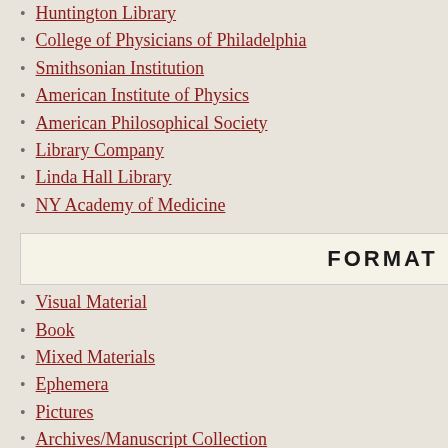Huntington Library (20)
College of Physicians of Philadelphia (12)
Smithsonian Institution (12)
American Institute of Physics (4)
American Philosophical Society (3)
Library Company (2)
Linda Hall Library (1)
NY Academy of Medicine (1)
FORMAT
Visual Material (459)
Book (214)
Mixed Materials (115)
Ephemera (40)
Pictures (35)
Archives/Manuscript Collection (33)
Alt. Title
Creator
Note
Extent
Subject
Collection
3 Title
Creator
Publication
Extent
Subject
Collection